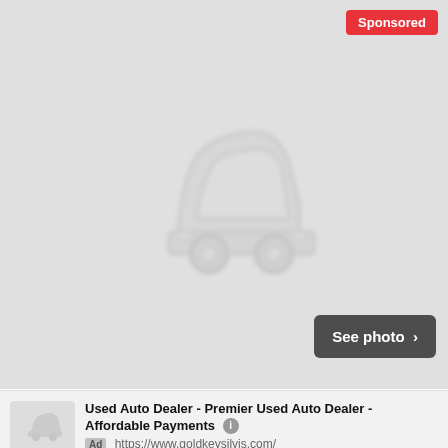[Figure (photo): Car listing placeholder image showing a gray silhouette of a car on a light gray background, with a red 'Sponsored' badge in the top-right and a dark 'See photo >' button in the lower-right of the image area]
2011 Jeep Liberty Sport Seattle, WA
$11,999
Seattle
2011  125,357 Miles  4 Doors
12 days ago
View car
Used Auto Dealer - Premier Used Auto Dealer - Affordable Payments
Ad https://www.goldkeysilvis.com/